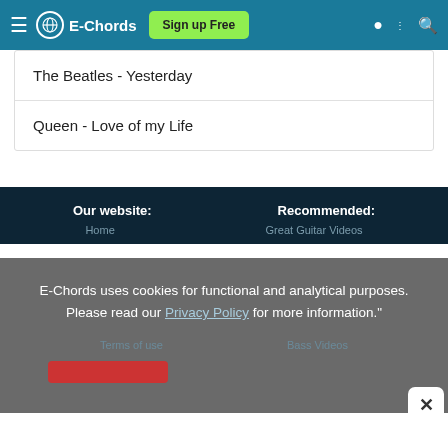E-Chords | Sign up Free
The Beatles - Yesterday
Queen - Love of my Life
Our website:
Recommended:
Home
Great Guitar Videos
E-Chords uses cookies for functional and analytical purposes. Please read our Privacy Policy for more information."
Terms of use
Bass Videos